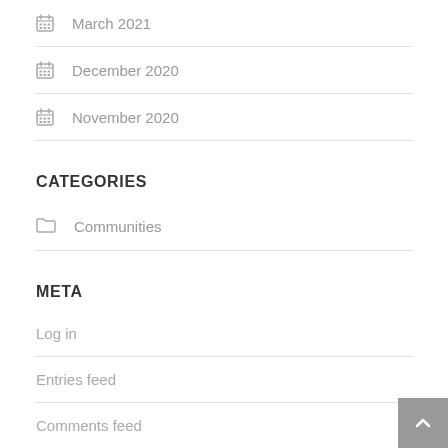March 2021
December 2020
November 2020
CATEGORIES
Communities
META
Log in
Entries feed
Comments feed